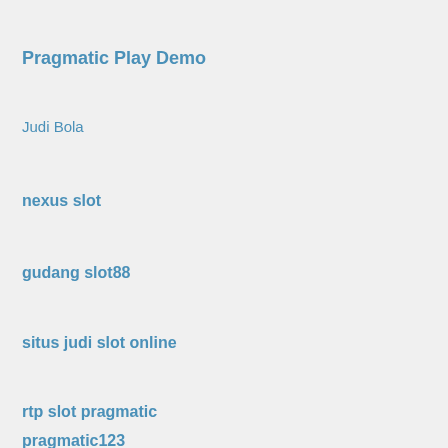Pragmatic Play Demo
Judi Bola
nexus slot
gudang slot88
situs judi slot online
rtp slot pragmatic
pragmatic123